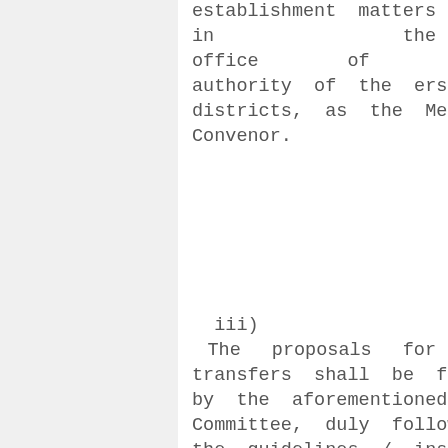establishment matters in the office of Competent authority of the erstwhile districts, as the Member-Convenor.
iii) The proposals for transfers shall be finalised by the aforementioned Committee, duly following the guidelines / instructions